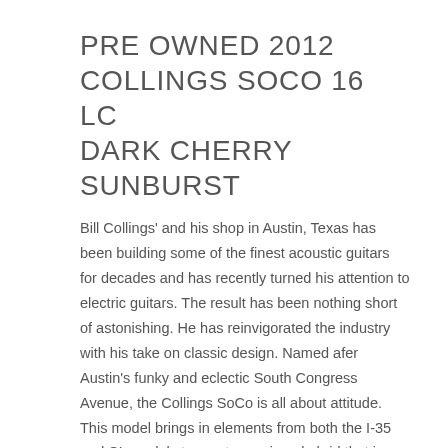PRE OWNED 2012 COLLINGS SOCO 16 LC DARK CHERRY SUNBURST
Bill Collings' and his shop in Austin, Texas has been building some of the finest acoustic guitars for decades and has recently turned his attention to electric guitars. The result has been nothing short of astonishing. He has reinvigorated the industry with his take on classic design. Named afer Austin's funky and eclectic South Congress Avenue, the Collings SoCo is all about attitude. This model brings in elements from both the I-35 and CL models to create a unique hybrid that is distinctly Wh...